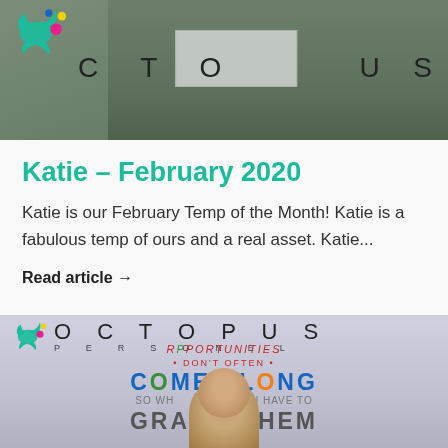[Figure (photo): Photo of a person holding a sign at an Octopus Personnel branded backdrop, upper portion showing olive/green jacket and partial Octopus logo with splash graphic]
Katie – February 2020
Katie is our February Temp of the Month! Katie is a fabulous temp of ours and a real asset. Katie...
Read article →
[Figure (photo): Photo of a man standing in front of an Octopus Personnel sign reading OPPORTUNITIES DON'T OFTEN COME ALONG SO WHEN YOU HAVE TO GRAB THEM, with colourful lettering]